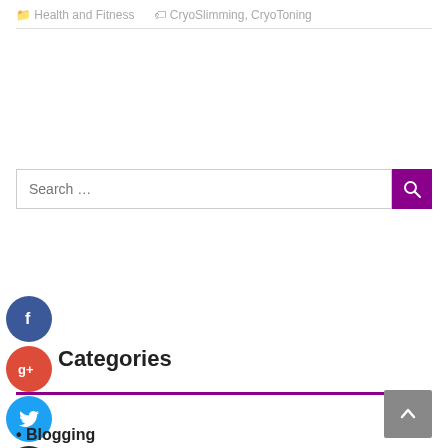Health and Fitness   CryoSlimming, CryoToning
[Figure (screenshot): Search input box with purple search button]
[Figure (infographic): Social media circular icon buttons: Facebook (blue), Google+ (red), Twitter (blue), Add (dark)]
Categories
Blogging